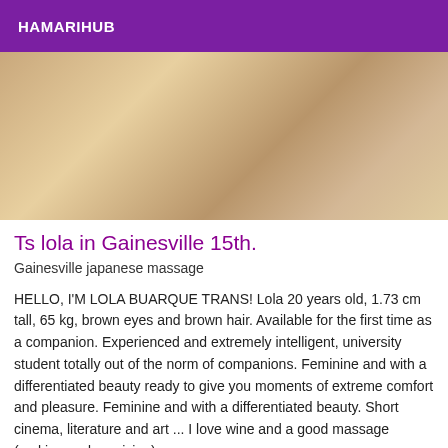HAMARIHUB
[Figure (photo): A person standing in a bathroom/shower area, tiled background]
Ts lola in Gainesville 15th.
Gainesville japanese massage
HELLO, I'M LOLA BUARQUE TRANS! Lola 20 years old, 1.73 cm tall, 65 kg, brown eyes and brown hair. Available for the first time as a companion. Experienced and extremely intelligent, university student totally out of the norm of companions. Feminine and with a differentiated beauty ready to give you moments of extreme comfort and pleasure. Feminine and with a differentiated beauty. Short cinema, literature and art ... I love wine and a good massage (making and receiving).